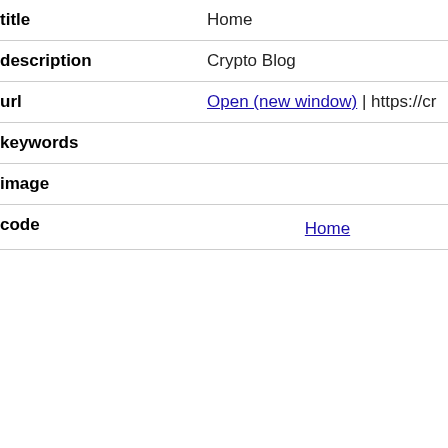| key | value |
| --- | --- |
| title | Home |
| description | Crypto Blog |
| url | Open (new window) | https://cr… |
| keywords |  |
| image |  |
| code | Home |